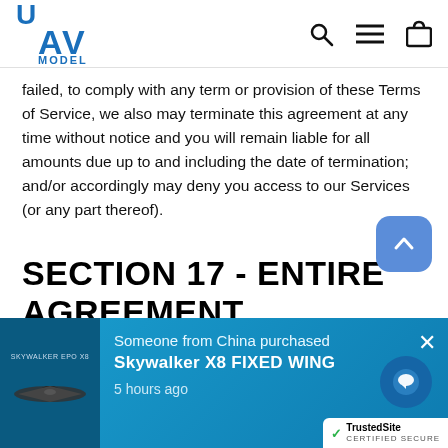UAV MODEL
failed, to comply with any term or provision of these Terms of Service, we also may terminate this agreement at any time without notice and you will remain liable for all amounts due up to and including the date of termination; and/or accordingly may deny you access to our Services (or any part thereof).
SECTION 17 - ENTIRE AGREEMENT
The failure of us to exercise or enforce any right or provision of these Terms of Service shall not constitute a waiver of such right or provision.
[Figure (infographic): Purchase notification popup: Someone from China purchased Skywalker X8 FIXED WING, 5 hours ago. Shows drone image and TrustedSite certified secure badge.]